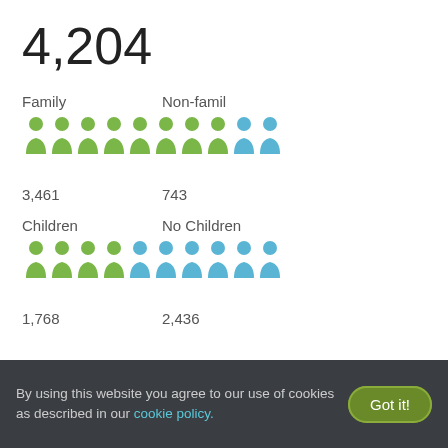4,204
[Figure (infographic): Pictogram showing Family households (green icons, 3,461) and Non-family households (blue icons, 743) out of total 4,204]
[Figure (infographic): Pictogram showing Children households (green icons, 1,768) and No Children households (blue icons, 2,436)]
By using this website you agree to our use of cookies as described in our cookie policy.